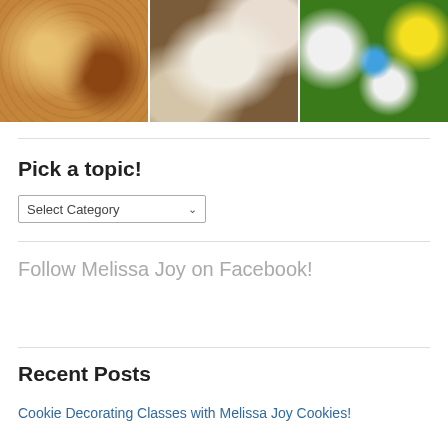[Figure (photo): Three food/cookie photos in a row: forest-themed cookies, Easter egg cookies, and Easter bunny cookies]
Pick a topic!
Select Category (dropdown)
Follow Melissa Joy on Facebook!
Recent Posts
Cookie Decorating Classes with Melissa Joy Cookies!